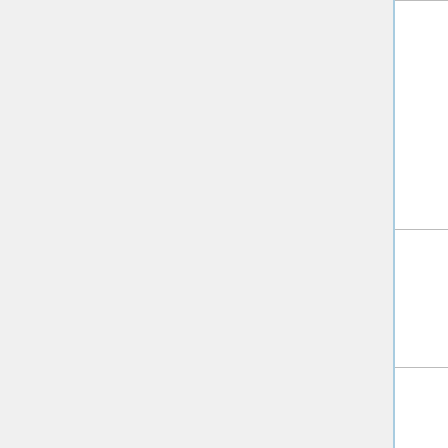| Author(s) | Year | Journal | Title |
| --- | --- | --- | --- |
| Gao, Usami, & Ge | 1998 | Engineering Mechanics | B... M... F... |
| Gao & Ge | 2007 | Advanced Steel Construction | G... "N... a... C... C... |
| Ge & Usami | 1998 | Journal of Structural Engineering, ASCE | G... "S... W... E... E... 1... |
| Ge & Usami | 1994 | Journal of Constructional Steel Research | G... "S... F... C... S... |